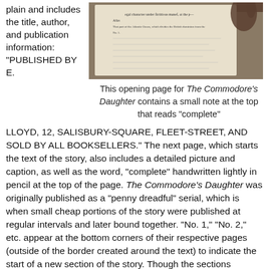plain and includes the title, author, and publication information: "PUBLISHED BY E.
[Figure (photo): A photograph of an old book page with text visible, including handwritten or printed notes. A hand is visible at the top right corner of the image.]
This opening page for The Commodore's Daughter contains a small note at the top that reads “complete”
LLOYD, 12, SALISBURY-SQUARE, FLEET-STREET, AND SOLD BY ALL BOOKSELLERS.” The next page, which starts the text of the story, also includes a detailed picture and caption, as well as the word, “complete” handwritten lightly in pencil at the top of the page. The Commodore’s Daughter was originally published as a “penny dreadful” serial, which is when small cheap portions of the story were published at regular intervals and later bound together. “No. 1,” “No. 2,” etc. appear at the bottom corners of their respective pages (outside of the border created around the text) to indicate the start of a new section of the story. Though the sections